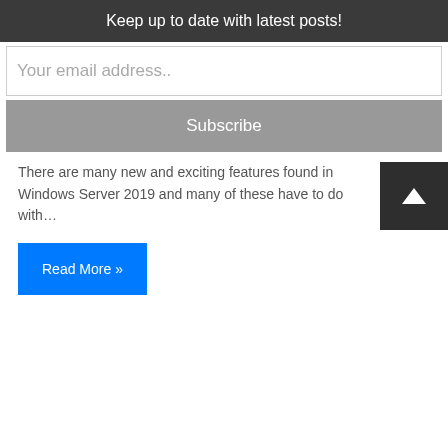Keep up to date with latest posts!
Your email address..
Subscribe
There are many new and exciting features found in Windows Server 2019 and many of these have to do with…
Read More »